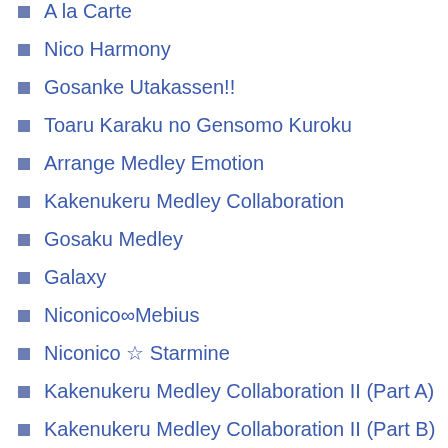A la Carte
Nico Harmony
Gosanke Utakassen!!
Toaru Karaku no Gensomo Kuroku
Arrange Medley Emotion
Kakenukeru Medley Collaboration
Gosaku Medley
Galaxy
Niconico∞Mebius
Niconico ☆ Starmine
Kakenukeru Medley Collaboration II (Part A)
Kakenukeru Medley Collaboration II (Part B)
NicoDoga9
Nico Nico Reflection
Nico Nico 60-Second Medley Level 1
Minna Issho ni Tanoshiku Nico Nico Douga
Nico Nico 60-Second Medley Level 2
Nico Nico 60-Second Medley Level 3
Nico Nico Douga Starlight Festival
Galaxy Lite
50-Second Medley (Ginga-P Ver. onward)
Koushoushiki Souko